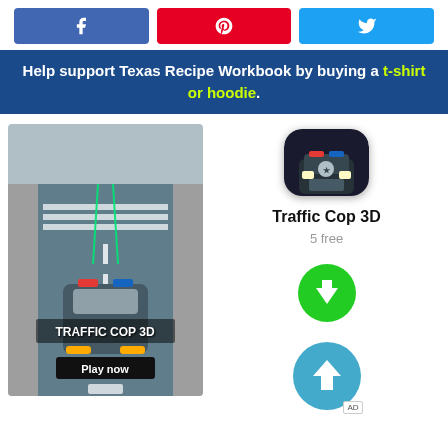[Figure (infographic): Three social share buttons: Facebook (blue), Pinterest (red), Twitter (light blue)]
Help support Texas Recipe Workbook by buying a t-shirt or hoodie.
[Figure (screenshot): Traffic Cop 3D game screenshot showing a police car chase on a road with 'TRAFFIC COP 3D' text and 'Play now' button]
[Figure (photo): Traffic Cop 3D app icon showing a police car front view]
Traffic Cop 3D
5 free
[Figure (other): Green circular download button with down arrow]
[Figure (other): Teal circular button with up arrow and AD badge]